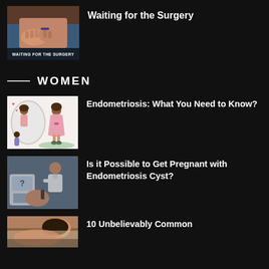[Figure (photo): Photo of person with hands on pregnant belly, with text overlay 'WAITING FOR THE SURGERY']
Waiting for the Surgery
WOMEN
[Figure (illustration): Illustration of two women figures, one in pink dress looking in mirror]
Endometriosis: What You Need to Know?
[Figure (photo): Photo of medical professional with ultrasound equipment and a scale showing question mark]
Is it Possible to Get Pregnant with Endometriosis Cyst?
[Figure (photo): Photo of woman lying down, partial view]
10 Unbelievably Common